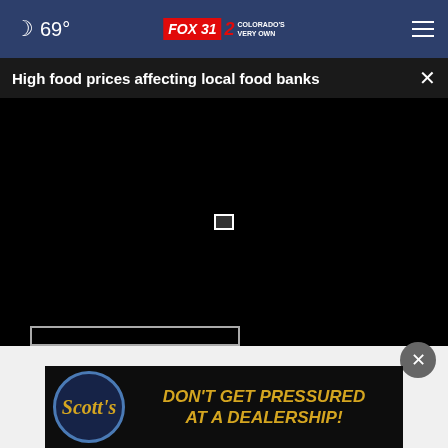69° FOX 31 2 COLORADO'S VERY OWN
High food prices affecting local food banks
[Figure (screenshot): Black video player area with a small white play/pause icon in the center]
[Figure (illustration): Advertisement banner: Scott's logo on left, text reads DON'T GET PRESSURED AT A DEALERSHIP! in yellow on black background]